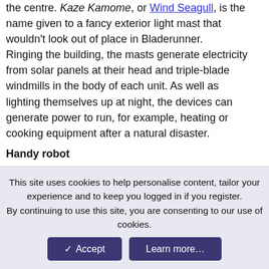the centre. Kaze Kamome, or Wind Seagull, is the name given to a fancy exterior light mast that wouldn't look out of place in Bladerunner.
Ringing the building, the masts generate electricity from solar panels at their head and triple-blade windmills in the body of each unit. As well as lighting themselves up at night, the devices can generate power to run, for example, heating or cooking equipment after a natural disaster.
Handy robot
Moving on to possible future products, it seems Panasonic has been dabbling in robotics. The first prototype is a mechanical hand known as the Differential Shaft Mechanism Hand, or DSM-Hand for short.
Ever the altruist, Panasonic plans to develop the prototype into something that may one day replace a lost limb. As it uses differential gears instead of separate motors for each joint, the
This site uses cookies to help personalise content, tailor your experience and to keep you logged in if you register.
By continuing to use this site, you are consenting to our use of cookies.